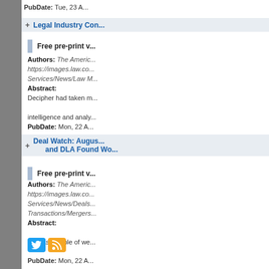PubDate: Tue, 23 A...
Legal Industry Con...
Free pre-print v...
Authors: The Americ... https://images.law.co... Services/News/Law M... Abstract: Decipher had taken m... intelligence and analy... PubDate: Mon, 22 A...
Deal Watch: Augus... and DLA Found Wo...
Free pre-print v...
Authors: The Americ... https://images.law.co... Services/News/Deals... Transactions/Mergers... Abstract: The last couple of we... PubDate: Mon, 22 A...
[Figure (other): Twitter and RSS feed icons]